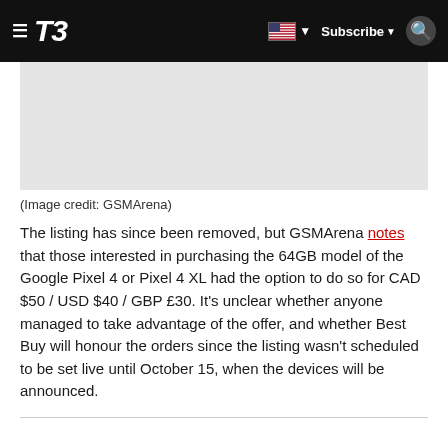T3 — Subscribe
[Figure (photo): Gray image placeholder area (advertisement or photo)]
(Image credit: GSMArena)
The listing has since been removed, but GSMArena notes that those interested in purchasing the 64GB model of the Google Pixel 4 or Pixel 4 XL had the option to do so for CAD $50 / USD $40 / GBP £30. It's unclear whether anyone managed to take advantage of the offer, and whether Best Buy will honour the orders since the listing wasn't scheduled to be set live until October 15, when the devices will be announced.